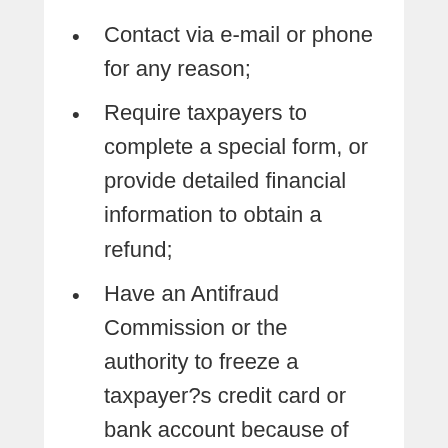Contact via e-mail or phone for any reason;
Require taxpayers to complete a special form, or provide detailed financial information to obtain a refund;
Have an Antifraud Commission or the authority to freeze a taxpayer?s credit card or bank account because of potential theft or fraud